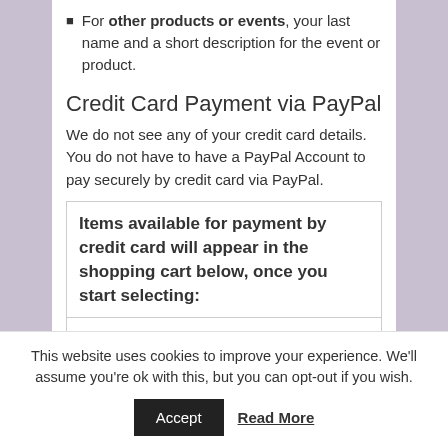For other products or events, your last name and a short description for the event or product.
Credit Card Payment via PayPal
We do not see any of your credit card details. You do not have to have a PayPal Account to pay securely by credit card via PayPal.
| Items available for payment by credit card will appear in the shopping cart below, once you start selecting: |
| New Membership |
| Single 2022-2023 New Membership + Joining Fee $72.00 |
This website uses cookies to improve your experience. We'll assume you're ok with this, but you can opt-out if you wish.
Accept  Read More